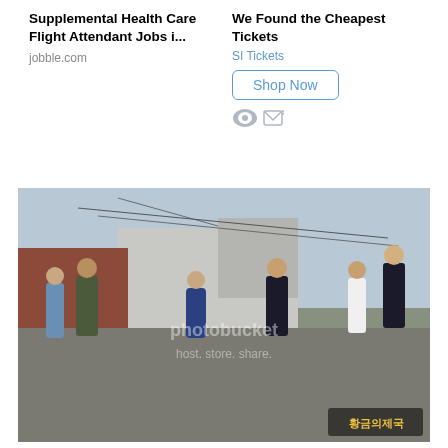[Figure (infographic): Two advertisement blocks side by side. Left ad: 'Supplemental Health Care Flight Attendant Jobs i...' from jobble.com. Right ad: 'We Found the Cheapest Tickets' from SI Tickets with a 'Shop Now' button.]
[Figure (photo): A scene from a Korean drama (Empire of Gold / 황금의 제국) showing several people on a rooftop or outdoor urban setting. A woman in a blue dress stands in the center, surrounded by men. There is a Photobucket watermark overlay reading 'host. store. share.' A Korean drama logo is visible in the bottom right corner.]